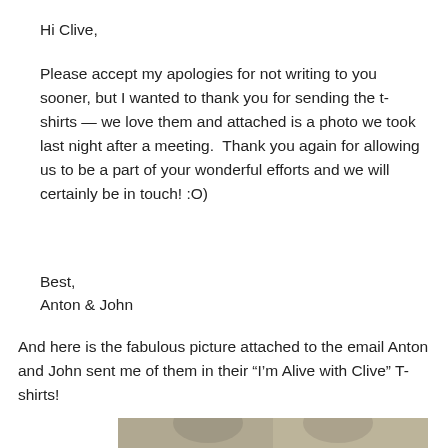Hi Clive,
Please accept my apologies for not writing to you sooner, but I wanted to thank you for sending the t-shirts — we love them and attached is a photo we took last night after a meeting.  Thank you again for allowing us to be a part of your wonderful efforts and we will certainly be in touch! :O)
Best,
Anton & John
And here is the fabulous picture attached to the email Anton and John sent me of them in their “I’m Alive with Clive” T-shirts!
[Figure (photo): Two men photographed together, wearing 'I'm Alive with Clive' T-shirts, partial view at bottom of page.]